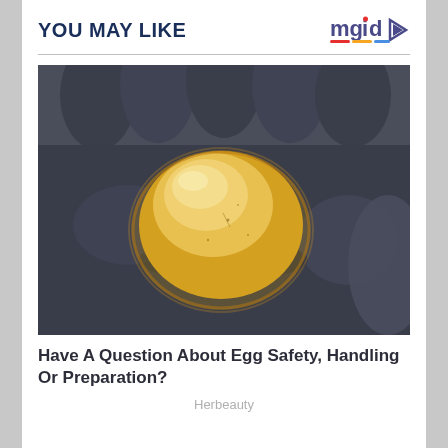YOU MAY LIKE
[Figure (photo): A shell-less egg (egg without its shell, showing translucent membrane) resting on a dark grey gloved hand or dark padded surface. The egg appears amber/golden-yellow and gelatinous.]
Have A Question About Egg Safety, Handling Or Preparation?
Herbeauty